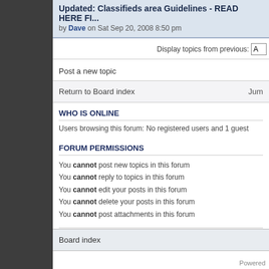Updated: Classifieds area Guidelines - READ HERE FI... by Dave on Sat Sep 20, 2008 8:50 pm
Display topics from previous: A
Post a new topic
Return to Board index   Jum
WHO IS ONLINE
Users browsing this forum: No registered users and 1 guest
FORUM PERMISSIONS
You cannot post new topics in this forum
You cannot reply to topics in this forum
You cannot edit your posts in this forum
You cannot delete your posts in this forum
You cannot post attachments in this forum
Board index
Powered